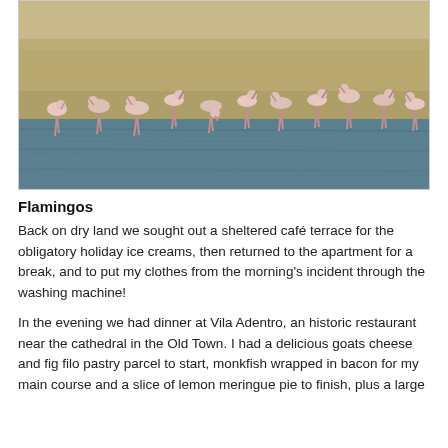[Figure (photo): A flock of flamingos standing in shallow water with a sandy shoreline and greenish-blue water in the foreground.]
Flamingos
Back on dry land we sought out a sheltered café terrace for the obligatory holiday ice creams, then returned to the apartment for a break, and to put my clothes from the morning's incident through the washing machine!
In the evening we had dinner at Vila Adentro, an historic restaurant near the cathedral in the Old Town. I had a delicious goats cheese and fig filo pastry parcel to start, monkfish wrapped in bacon for my main course and a slice of lemon meringue pie to finish, plus a large